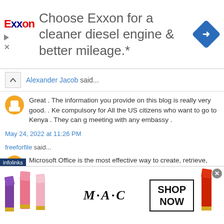[Figure (infographic): Exxon advertisement banner: Exxon logo on left, text 'Choose Exxon for a cleaner diesel engine & better mileage.*' in center, blue diamond navigation icon on right]
Alexander Jacob said...
Great . The information you provide on this blog is really very good. . Ke compulsory for All the US citizens who want to go to Kenya . They can go meeting with any embassy .
May 24, 2022 at 11:26 PM
freeforfile said...
Microsoft Office is the most effective way to create, retrieve, and transfe updated features that make it simple to get expert materials.
[Figure (infographic): MAC cosmetics advertisement banner showing lipsticks, MAC logo, and SHOP NOW button]